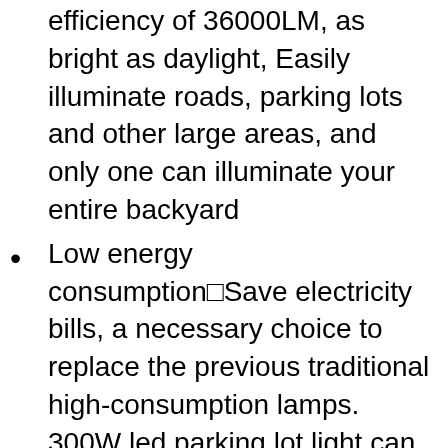efficiency of 36000LM, as bright as daylight, Easily illuminate roads, parking lots and other large areas, and only one can illuminate your entire backyard
Low energy consumption□Save electricity bills, a necessary choice to replace the previous traditional high-consumption lamps. 300W led parking lot light can replace 1000-1200W HID/HPS, giving you 75% savings on electricity bills, saving hundreds of dollars
Strong and sturdy □The solid aluminum material ensures durability and efficient heat dissipation. The radiator adopts a hollow design to increase the heat dissipation area, accelerate the